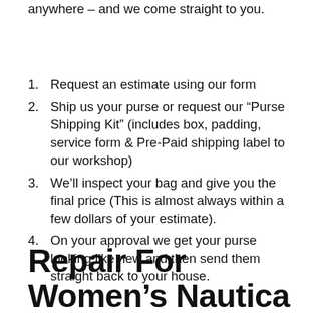anywhere – and we come straight to you.
Request an estimate using our form
Ship us your purse or request our “Purse Shipping Kit” (includes box, padding, service form & Pre-Paid shipping label to our workshop)
We’ll inspect your bag and give you the final price (This is almost always within a few dollars of your estimate).
On your approval we get your purse looking like new and then send them straight back to your house.
Repair For Women’s Nautica